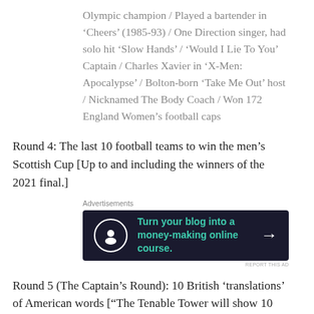Olympic champion / Played a bartender in ‘Cheers’ (1985-93) / One Direction singer, had solo hit ‘Slow Hands’ / ‘Would I Lie To You’ Captain / Charles Xavier in ‘X-Men: Apocalypse’ / Bolton-born ‘Take Me Out’ host / Nicknamed The Body Coach / Won 172 England Women’s football caps
Round 4: The last 10 football teams to win the men’s Scottish Cup [Up to and including the winners of the 2021 final.]
[Figure (other): Advertisement banner: dark navy background with teal text reading 'Turn your blog into a money-making online course.' with a circular icon and an arrow.]
Round 5 (The Captain’s Round): 10 British ‘translations’ of American words [“The Tenable Tower will show 10 American terms; we are looking for the 10 usual British